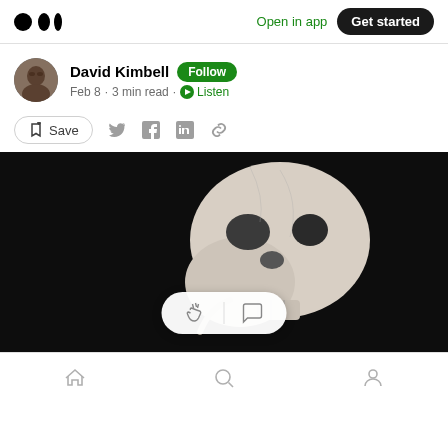Medium logo | Open in app | Get started
David Kimbell  Follow
Feb 8 · 3 min read · Listen
Save (with social share icons)
[Figure (photo): Dark background photo of a white human skull model viewed from the side, with a floating reaction bar showing clapping and comment icons]
Home | Search | Profile (bottom navigation)